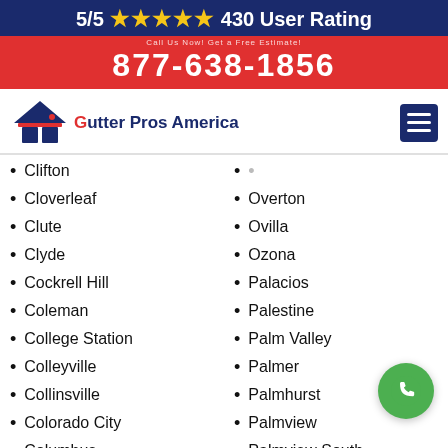5/5 ★★★★★ 430 User Rating
877-638-1856
[Figure (logo): Gutter Pros America logo with house roof icon]
Clifton
Cloverleaf
Clute
Clyde
Cockrell Hill
Coleman
College Station
Colleyville
Collinsville
Colorado City
Columbus
Comanche
Combes
Overton
Ovilla
Ozona
Palacios
Palestine
Palm Valley
Palmer
Palmhurst
Palmview
Palmview South
Paloma Creek
Paloma Creek South
Pampa